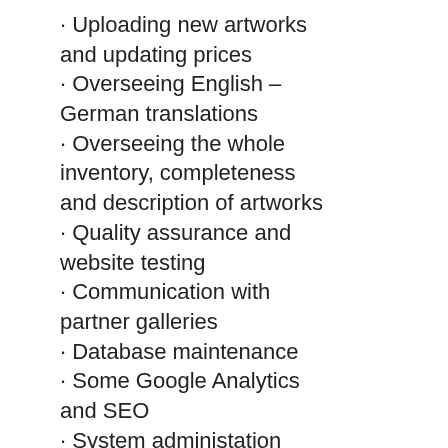· Uploading new artworks and updating prices
· Overseeing English – German translations
· Overseeing the whole inventory, completeness and description of artworks
· Quality assurance and website testing
· Communication with partner galleries
· Database maintenance
· Some Google Analytics and SEO
· System administation (printer, fax, phones)
**Requirements**
· Native English speaker or